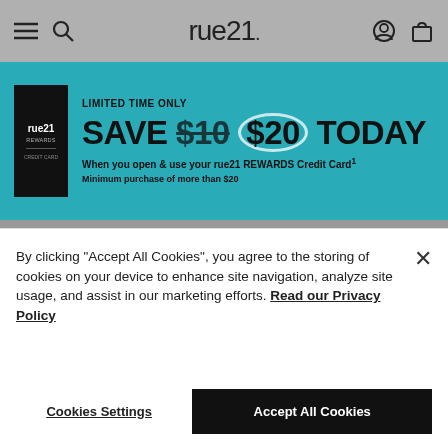rue21 navigation bar with hamburger menu, search, logo, user account and bag icons
[Figure (screenshot): Teal promotional banner: LIMITED TIME ONLY SAVE $10 $20 TODAY When you open & use your rue21 REWARDS Credit Card! Minimum purchase of more than $20]
[Figure (screenshot): Image not found broken image icon]
Something went wrong.
Continue Shopping
By clicking "Accept All Cookies", you agree to the storing of cookies on your device to enhance site navigation, analyze site usage, and assist in our marketing efforts. Read our Privacy Policy
Cookies Settings
Accept All Cookies